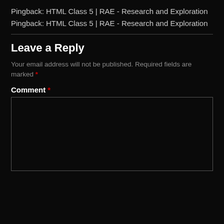Pingback: HTML Class 5 | RAE - Research and Exploration
Pingback: HTML Class 5 | RAE - Research and Exploration
Leave a Reply
Your email address will not be published. Required fields are marked *
Comment *